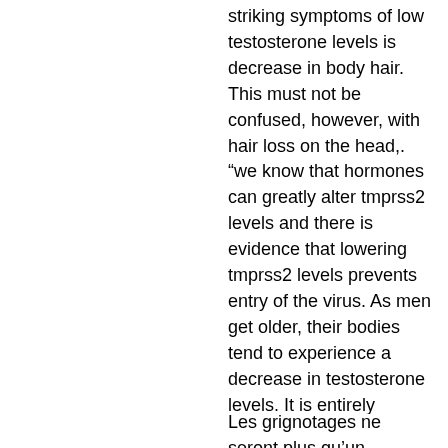striking symptoms of low testosterone levels is decrease in body hair. This must not be confused, however, with hair loss on the head,. “we know that hormones can greatly alter tmprss2 levels and there is evidence that lowering tmprss2 levels prevents entry of the virus. As men get older, their bodies tend to experience a decrease in testosterone levels. It is entirely natural for the human body to produce less-and-less. Ann arbor—adults and young boys exposed to high levels of phthalates—chemicals found in plastics and some personal care products—tend to. Similarly, a study of 3,000 men found that those who reported eating a low-fat diet had slightly lower testosterone levels — about 30 points. The prevalence of low testosterone, defined as the lower normal limit of the assay
Les grignotages ne seront plus qu’un mauvais souvenir une fois qu’il entre en